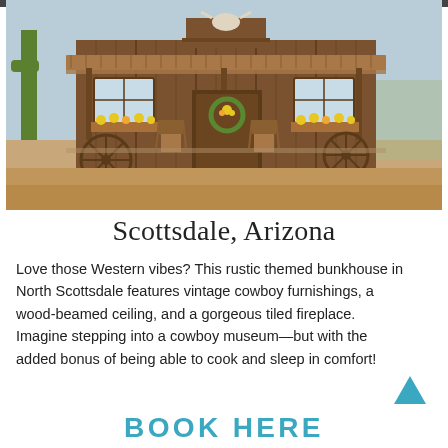[Figure (photo): Rustic wooden bunkhouse with corrugated metal roof, wagon wheels, window boxes with yellow flowers, and a bull skull above the entrance, set in a desert landscape in North Scottsdale, Arizona.]
Scottsdale, Arizona
Love those Western vibes? This rustic themed bunkhouse in North Scottsdale features vintage cowboy furnishings, a wood-beamed ceiling, and a gorgeous tiled fireplace. Imagine stepping into a cowboy museum—but with the added bonus of being able to cook and sleep in comfort!
BOOK HERE